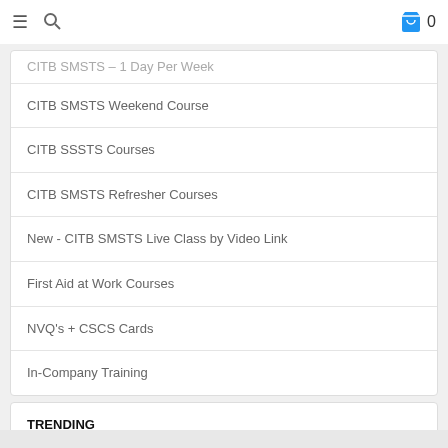navigation bar with hamburger menu, search icon, and cart with 0 items
CITB SMSTS - 1 Day Per Week
CITB SMSTS Weekend Course
CITB SSSTS Courses
CITB SMSTS Refresher Courses
New - CITB SMSTS Live Class by Video Link
First Aid at Work Courses
NVQ's + CSCS Cards
In-Company Training
TRENDING
SMSTS in London
New - CITB SSSTS Live Class by Video Link